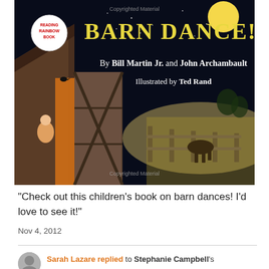[Figure (photo): Book cover of 'Barn Dance!' by Bill Martin Jr. and John Archambault, illustrated by Ted Rand. Dark night sky background with yellow moon, barn doors, fence, and a child figure playing fiddle. Reading Rainbow Book badge visible. 'Copyrighted Material' watermark at top and bottom.]
“Check out this children’s book on barn dances!  I’d love to see it!”
Nov 4, 2012
Sarah Lazare replied to Stephanie Campbell’s